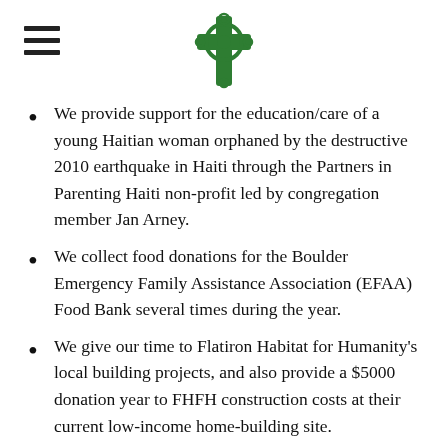[hamburger menu icon] [green Celtic cross logo]
We provide support for the education/care of a young Haitian woman orphaned by the destructive 2010 earthquake in Haiti through the Partners in Parenting Haiti non-profit led by congregation member Jan Arney.
We collect food donations for the Boulder Emergency Family Assistance Association (EFAA) Food Bank several times during the year.
We give our time to Flatiron Habitat for Humanity's local building projects, and also provide a $5000 donation year to FHFH construction costs at their current low-income home-building site.
Through our church missions budget, we support the Boulder Bridge House "Director's Discretionary Fund" that is used by Bridge House to help homeless with bus